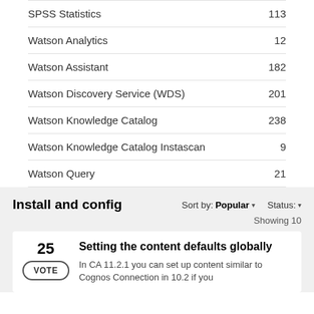SPSS Statistics   113
Watson Analytics   12
Watson Assistant   182
Watson Discovery Service (WDS)   201
Watson Knowledge Catalog   238
Watson Knowledge Catalog Instascan   9
Watson Query   21
Install and config
Sort by: Popular ▾   Status: ▾
Showing 10
25  VOTE  Setting the content defaults globally
In CA 11.2.1 you can set up content similar to Cognos Connection in 10.2 if you